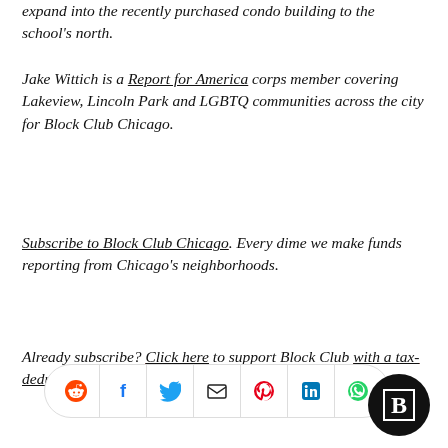expand into the recently purchased condo building to the school's north.
Jake Wittich is a Report for America corps member covering Lakeview, Lincoln Park and LGBTQ communities across the city for Block Club Chicago.
Subscribe to Block Club Chicago. Every dime we make funds reporting from Chicago's neighborhoods.
Already subscribe? Click here to support Block Club with a tax-deductible donation.
[Figure (other): Social share bar with icons for Reddit, Facebook, Twitter, Email, Pinterest, LinkedIn, WhatsApp, and a Block Club Chicago logo circle]